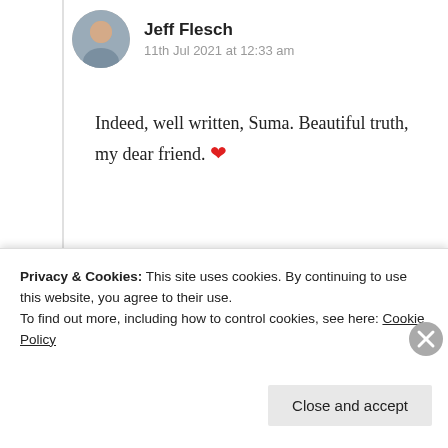Jeff Flesch
11th Jul 2021 at 12:33 am
Indeed, well written, Suma. Beautiful truth, my dear friend. ❤
Liked by 1 person
Log in to Reply
Privacy & Cookies: This site uses cookies. By continuing to use this website, you agree to their use.
To find out more, including how to control cookies, see here: Cookie Policy
Close and accept